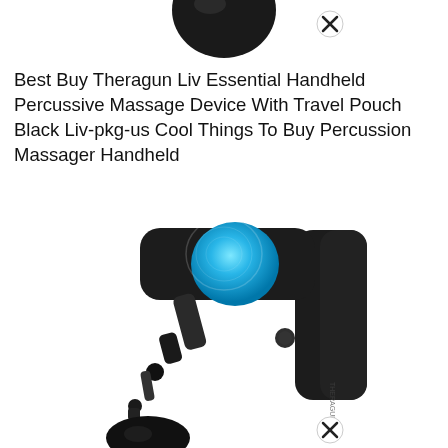[Figure (photo): Top portion of a black Theragun massage device ball attachment, partially cropped at top of page, with a circular close/remove button (X icon) to its right]
Best Buy Theragun Liv Essential Handheld Percussive Massage Device With Travel Pouch Black Liv-pkg-us Cool Things To Buy Percussion Massager Handheld
[Figure (photo): Theragun Liv handheld percussive massage device in black with a glowing blue circular button on the head, showing the gun-style handle and a detached attachment at the bottom, with a close/remove button (X icon) at the bottom right]